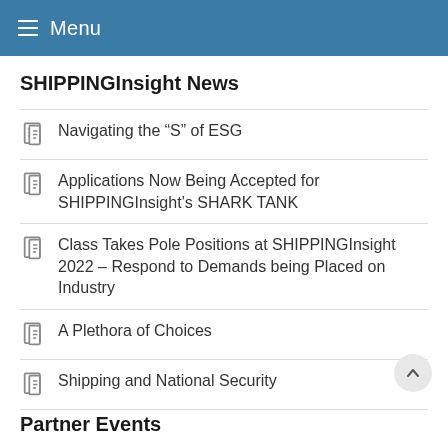Menu
SHIPPINGInsight News
Navigating the “S” of ESG
Applications Now Being Accepted for SHIPPINGInsight’s SHARK TANK
Class Takes Pole Positions at SHIPPINGInsight 2022 – Respond to Demands being Placed on Industry
A Plethora of Choices
Shipping and National Security
Partner Events